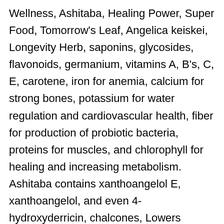Wellness, Ashitaba, Healing Power, Super Food, Tomorrow's Leaf, Angelica keiskei, Longevity Herb, saponins, glycosides, flavonoids, germanium, vitamins A, B's, C, E, carotene, iron for anemia, calcium for strong bones, potassium for water regulation and cardiovascular health, fiber for production of probiotic bacteria, proteins for muscles, and chlorophyll for healing and increasing metabolism. Ashitaba contains xanthoangelol E, xanthoangelol, and even 4-hydroxyderricin, chalcones, Lowers Cholesterol, Lowers Blood Sugar, Lowers Blood Pressure, Anti-inflammatory, Promotes Nerve Growth Factor, Growth Hormones, Liver Function, Kidney Function, Cancer, Anti-microbial, Vitality, Mood Enhancement, Immune Booster, B-12, chronic fatigue syndrome, libido, sperm production, for youthful skin, asthma, intestinal upsets, gastritis, stomach cancer,